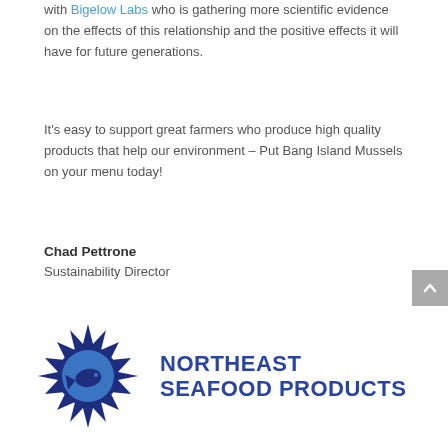with Bigelow Labs who is gathering more scientific evidence on the effects of this relationship and the positive effects it will have for future generations.
It's easy to support great farmers who produce high quality products that help our environment – Put Bang Island Mussels on your menu today!
Chad Pettrone
Sustainability Director
[Figure (logo): Northeast Seafood Products logo: a dark blue starburst/compass rose shape with a circular blue emblem in the center containing a fish silhouette, next to the text NORTHEAST SEAFOOD PRODUCTS in bold dark blue uppercase letters.]